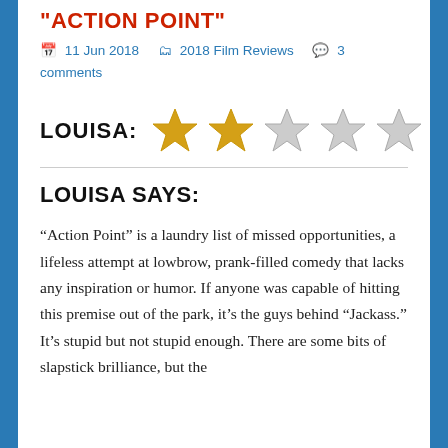"ACTION POINT"
11 Jun 2018   2018 Film Reviews   3 comments
[Figure (other): Star rating showing 2 out of 5 gold stars followed by 3 gray stars, labeled LOUISA:]
LOUISA SAYS:
“Action Point” is a laundry list of missed opportunities, a lifeless attempt at lowbrow, prank-filled comedy that lacks any inspiration or humor. If anyone was capable of hitting this premise out of the park, it’s the guys behind “Jackass.” It’s stupid but not stupid enough. There are some bits of slapstick brilliance, but the